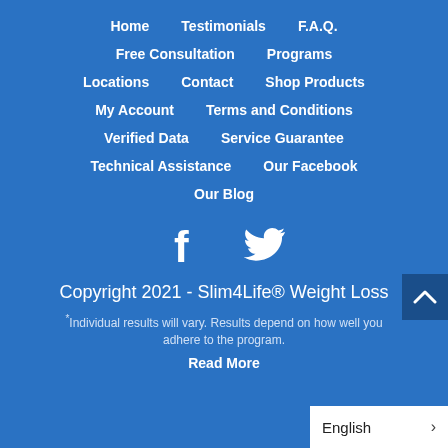Home
Testimonials
F.A.Q.
Free Consultation
Programs
Locations
Contact
Shop Products
My Account
Terms and Conditions
Verified Data
Service Guarantee
Technical Assistance
Our Facebook
Our Blog
[Figure (other): Social media icons: Facebook (f) and Twitter (bird) in white]
Copyright 2021 - Slim4Life® Weight Loss
*Individual results will vary. Results depend on how well you adhere to the program.
Read More
English >